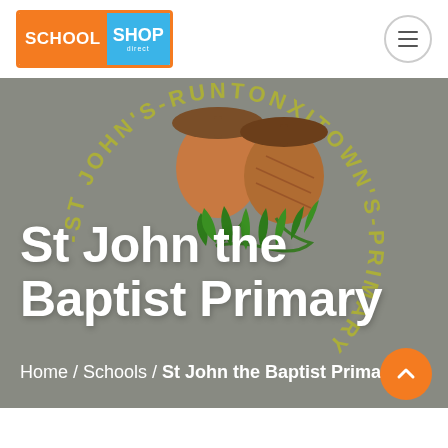[Figure (logo): School Shop Direct logo — orange border box with 'SCHOOL' in orange background and 'SHOP direct' in blue background]
[Figure (illustration): School crest/logo showing two acorns with oak leaves on a grey circular background with school name text around the circle: ST JOHN'S - RUNTONXITOWN'S - PRIMARY]
St John the Baptist Primary
Home / Schools / St John the Baptist Primary